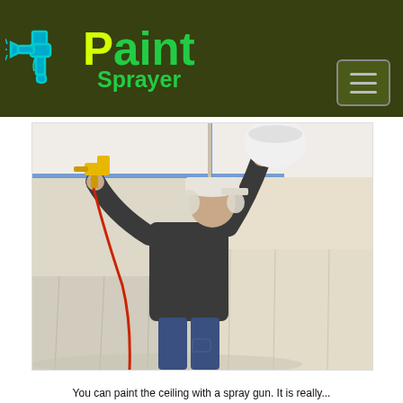Paint Sprayer
[Figure (photo): A person wearing ear protection and a cap uses a yellow paint sprayer gun to paint a ceiling. The room walls and floor are covered with clear plastic sheeting for protection. The person is dressed in a dark hoodie and jeans.]
You can paint the ceiling with a spray gun. It is really...